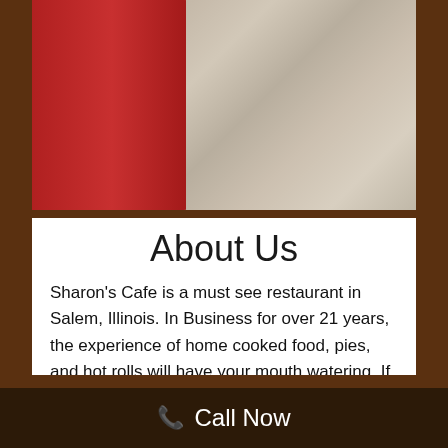[Figure (photo): Interior photo of Sharon's Cafe showing a red chair on the left and wooden floor in the background]
About Us
Sharon's Cafe is a must see restaurant in Salem, Illinois. In Business for over 21 years, the experience of home cooked food, pies, and hot rolls will have your mouth watering. If you are looking for a place to eat breakfast, then you need to come eat at Sharon's Cafe. Well known for having the best breakfast around, and even able to compete with the larger restaurants in terms of quality of food. You will not
Call Now